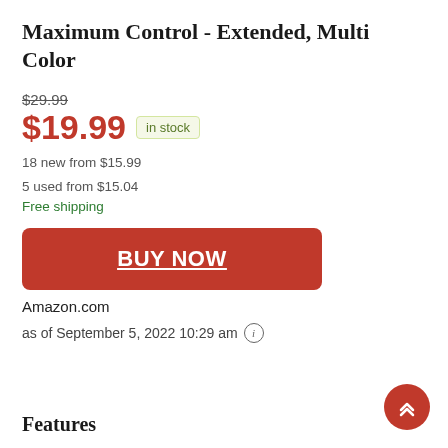Maximum Control - Extended, Multi Color
$29.99
$19.99 in stock
18 new from $15.99
5 used from $15.04
Free shipping
BUY NOW
Amazon.com
as of September 5, 2022 10:29 am
Features